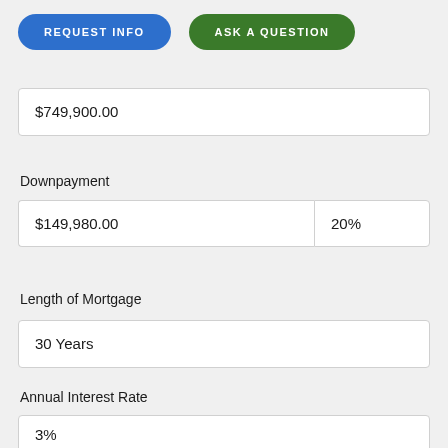REQUEST INFO
ASK A QUESTION
| $749,900.00 |
Downpayment
| $149,980.00 | 20% |
Length of Mortgage
| 30 Years |
Annual Interest Rate
| 3% |